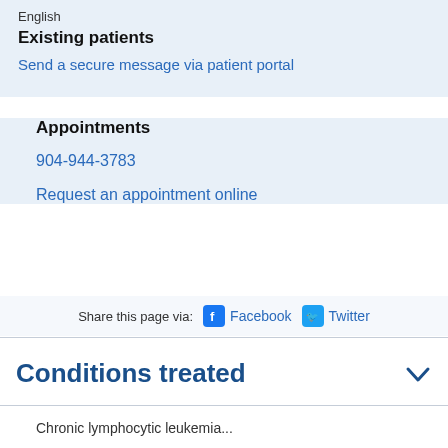English
Existing patients
Send a secure message via patient portal
Appointments
904-944-3783
Request an appointment online
Share this page via: Facebook Twitter
Conditions treated
Chronic lymphocytic leukemia...